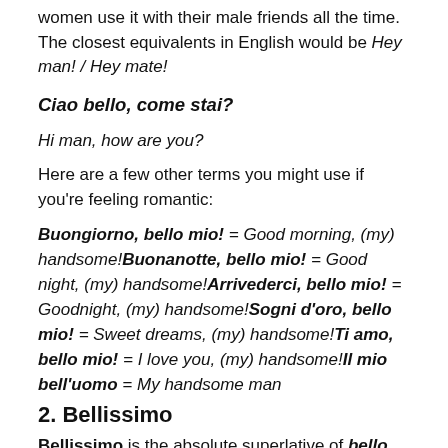women use it with their male friends all the time. The closest equivalents in English would be Hey man! / Hey mate!
Ciao bello, come stai?
Hi man, how are you?
Here are a few other terms you might use if you're feeling romantic:
Buongiorno, bello mio! = Good morning, (my) handsome!Buonanotte, bello mio! = Good night, (my) handsome!Arrivederci, bello mio! = Goodnight, (my) handsome!Sogni d'oro, bello mio! = Sweet dreams, (my) handsome!Ti amo, bello mio! = I love you, (my) handsome!Il mio bell'uomo = My handsome man
2. Bellissimo
Bellissimo is the absolute superlative of bello, with